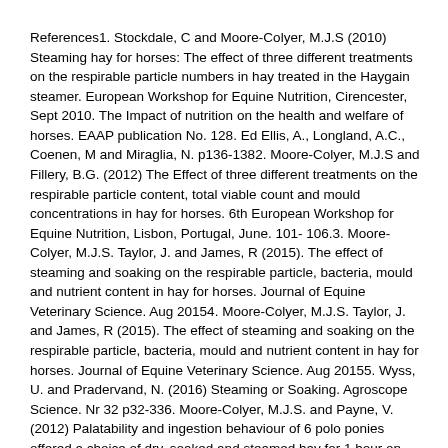References1. Stockdale, C and Moore-Colyer, M.J.S (2010) Steaming hay for horses: The effect of three different treatments on the respirable particle numbers in hay treated in the Haygain steamer. European Workshop for Equine Nutrition, Cirencester, Sept 2010. The Impact of nutrition on the health and welfare of horses. EAAP publication No. 128. Ed Ellis, A., Longland, A.C., Coenen, M and Miraglia, N. p136-1382. Moore-Colyer, M.J.S and Fillery, B.G. (2012) The Effect of three different treatments on the respirable particle content, total viable count and mould concentrations in hay for horses. 6th European Workshop for Equine Nutrition, Lisbon, Portugal, June. 101- 106.3. Moore-Colyer, M.J.S. Taylor, J. and James, R (2015). The effect of steaming and soaking on the respirable particle, bacteria, mould and nutrient content in hay for horses. Journal of Equine Veterinary Science. Aug 20154. Moore-Colyer, M.J.S. Taylor, J. and James, R (2015). The effect of steaming and soaking on the respirable particle, bacteria, mould and nutrient content in hay for horses. Journal of Equine Veterinary Science. Aug 20155. Wyss, U. and Pradervand, N. (2016) Steaming or Soaking. Agroscope Science. Nr 32 p32-336. Moore-Colyer, M.J.S. and Payne, V. (2012) Palatability and ingestion behaviour of 6 polo ponies offered a choice of dry, soaked and steamed hay for 1 hour on three separate occasions. Advances in Animal Biosciences. Healthy Food from Healthy Animals. Vol 3 part 1. 1277. Brown, E., Tracey, S and Gowers, I. (2013) An investigation to determine the palatability of steamed hay and soaked hay. Proceedings of British Society of Animal Science.